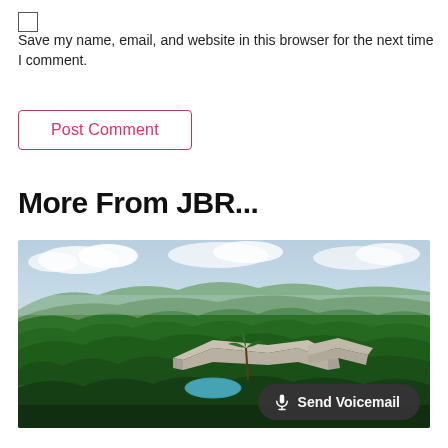Save my name, email, and website in this browser for the next time I comment.
Post Comment
More From JBR...
[Figure (photo): Aerial drone photo of a tropical villa with a white roof and swimming pool surrounded by dense green jungle and mountains in the background under a partly cloudy sky.]
Send Voicemail